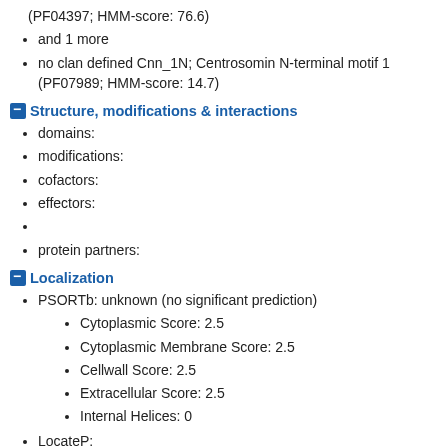(PF04397; HMM-score: 76.6)
and 1 more
no clan defined Cnn_1N; Centrosomin N-terminal motif 1 (PF07989; HMM-score: 14.7)
Structure, modifications & interactions
domains:
modifications:
cofactors:
effectors:
protein partners:
Localization
PSORTb: unknown (no significant prediction)
Cytoplasmic Score: 2.5
Cytoplasmic Membrane Score: 2.5
Cellwall Score: 2.5
Extracellular Score: 2.5
Internal Helices: 0
LocateP:
SignalP: no predicted signal peptide
SP(Sec/SPI): 0.004049
TAT(Tat/SPI): 0.000117